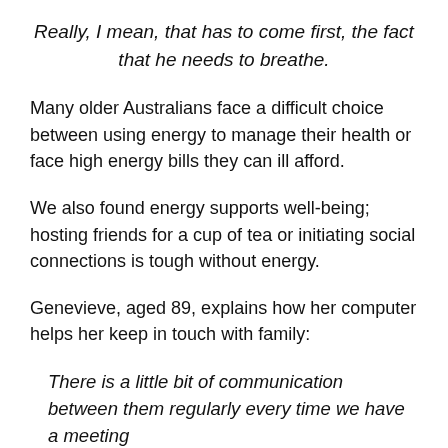Really, I mean, that has to come first, the fact that he needs to breathe.
Many older Australians face a difficult choice between using energy to manage their health or face high energy bills they can ill afford.
We also found energy supports well-being; hosting friends for a cup of tea or initiating social connections is tough without energy.
Genevieve, aged 89, explains how her computer helps her keep in touch with family:
There is a little bit of communication between them regularly every time we have a meeting